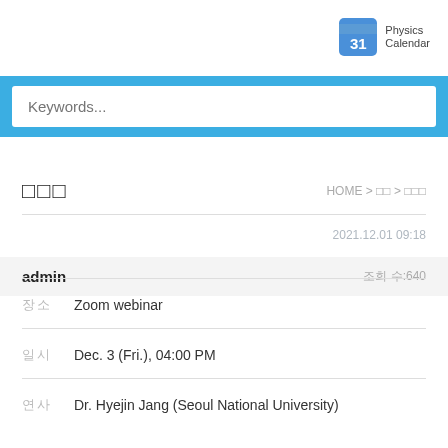[Figure (logo): Physics Calendar icon with calendar '31' and text 'Physics Calendar']
Keywords...
□□□
HOME > □□ > □□□
2021.12.01 09:18
| admin | 조회 수:640 |
| --- | --- |
| 장소 | Zoom webinar |
| 일시 | Dec. 3 (Fri.), 04:00 PM |
| 연사 | Dr. Hyejin Jang (Seoul National University) |